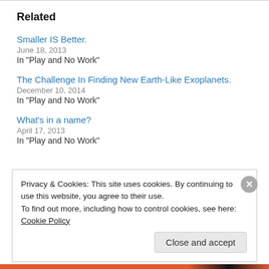Related
Smaller IS Better.
June 18, 2013
In "Play and No Work"
The Challenge In Finding New Earth-Like Exoplanets.
December 10, 2014
In "Play and No Work"
What's in a name?
April 17, 2013
In "Play and No Work"
Privacy & Cookies: This site uses cookies. By continuing to use this website, you agree to their use.
To find out more, including how to control cookies, see here: Cookie Policy